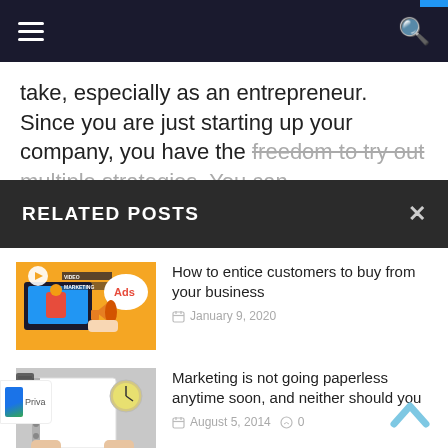Navigation bar with hamburger menu and search icon
take, especially as an entrepreneur. Since you are just starting up your company, you have the freedom to try out multiple strategies. You can
RELATED POSTS
[Figure (illustration): Video Marketing Ads thumbnail showing a laptop with a presenter, megaphone, and 'Ads' speech bubble on orange background]
How to entice customers to buy from your business
January 9, 2020
[Figure (photo): Person holding a blank white paper/notepad with a clock in the background on a desk]
Marketing is not going paperless anytime soon, and neither should you
August 5, 2014  0